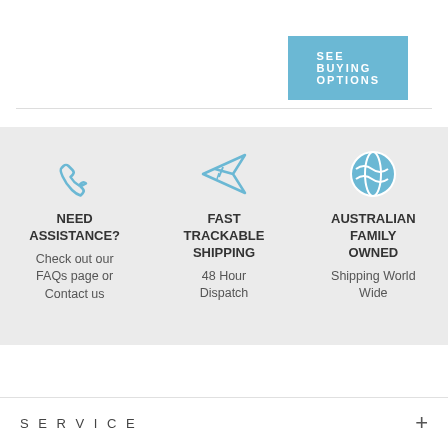[Figure (other): SEE BUYING OPTIONS button in blue]
[Figure (infographic): Three info blocks on gray background: phone icon with NEED ASSISTANCE? / Check out our FAQs page or Contact us; airplane icon with FAST TRACKABLE SHIPPING / 48 Hour Dispatch; globe icon with AUSTRALIAN FAMILY OWNED / Shipping World Wide]
SERVICE +